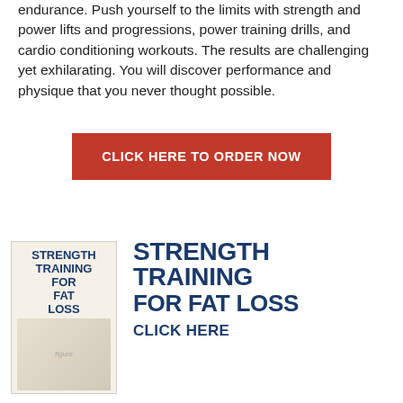endurance. Push yourself to the limits with strength and power lifts and progressions, power training drills, and cardio conditioning workouts. The results are challenging yet exhilarating. You will discover performance and physique that you never thought possible.
CLICK HERE TO ORDER NOW
[Figure (illustration): Book cover of 'Strength Training for Fat Loss' showing a woman doing an overhead press exercise, with bullet points listing benefits.]
STRENGTH TRAINING FOR FAT LOSS
CLICK HERE